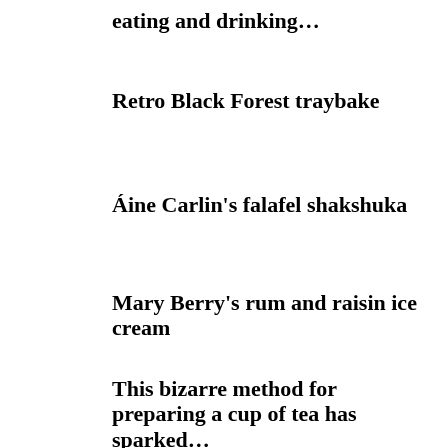eating and drinking…
Retro Black Forest traybake
Áine Carlin's falafel shakshuka
Mary Berry's rum and raisin ice cream
This bizarre method for preparing a cup of tea has sparked…